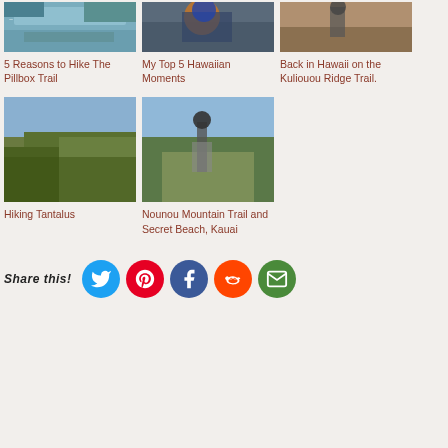[Figure (photo): Aerial view of coastal resort/marina from above]
5 Reasons to Hike The Pillbox Trail
[Figure (photo): Person sitting with orange backpack]
My Top 5 Hawaiian Moments
[Figure (photo): Person standing on ridge trail looking at landscape]
Back in Hawaii on the Kuliouou Ridge Trail.
[Figure (photo): Lush green hillside landscape, Tantalus]
Hiking Tantalus
[Figure (photo): Hiker with backpack on rocky trail]
Nounou Mountain Trail and Secret Beach, Kauai
Share this!